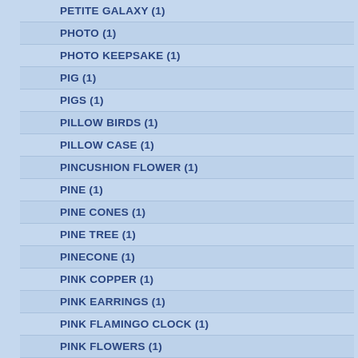PETITE GALAXY (1)
PHOTO (1)
PHOTO KEEPSAKE (1)
PIG (1)
PIGS (1)
PILLOW BIRDS (1)
PILLOW CASE (1)
PINCUSHION FLOWER (1)
PINE (1)
PINE CONES (1)
PINE TREE (1)
PINECONE (1)
PINK COPPER (1)
PINK EARRINGS (1)
PINK FLAMINGO CLOCK (1)
PINK FLOWERS (1)
PINK HIBISCUS (1)